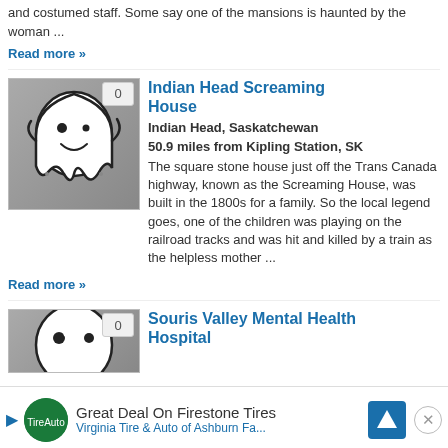and costumed staff. Some say one of the mansions is haunted by the woman ...
Read more »
[Figure (illustration): Ghost cartoon illustration on grey background with badge showing 0]
Indian Head Screaming House
Indian Head, Saskatchewan
50.9 miles from Kipling Station, SK
The square stone house just off the Trans Canada highway, known as the Screaming House, was built in the 1800s for a family. So the local legend goes, one of the children was playing on the railroad tracks and was hit and killed by a train as the helpless mother ...
Read more »
[Figure (illustration): Partial ghost cartoon illustration with badge showing 0]
Souris Valley Mental Health Hospital
Great Deal On Firestone Tires – Virginia Tire & Auto of Ashburn Fa...